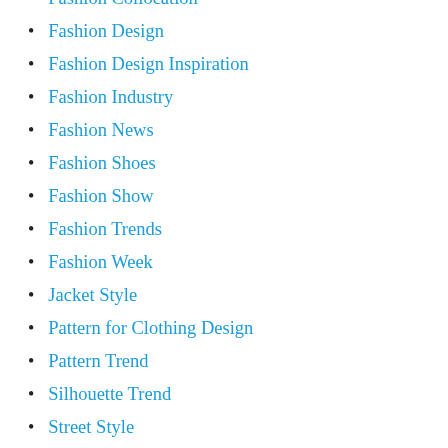Fashion Collocation
Fashion Design
Fashion Design Inspiration
Fashion Industry
Fashion News
Fashion Shoes
Fashion Show
Fashion Trends
Fashion Week
Jacket Style
Pattern for Clothing Design
Pattern Trend
Silhouette Trend
Street Style
Trend Analysis
Trend Color